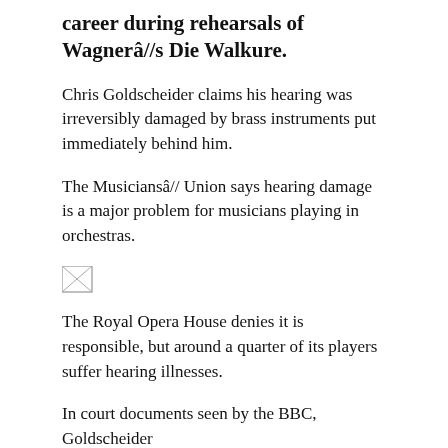career during rehearsals of Wagnerâ//s Die Walkure.
Chris Goldscheider claims his hearing was irreversibly damaged by brass instruments put immediately behind him.
The Musiciansâ// Union says hearing damage is a major problem for musicians playing in orchestras.
[Figure (photo): Broken/unavailable image placeholder]
The Royal Opera House denies it is responsible, but around a quarter of its players suffer hearing illnesses.
In court documents seen by the BBC, Goldscheider